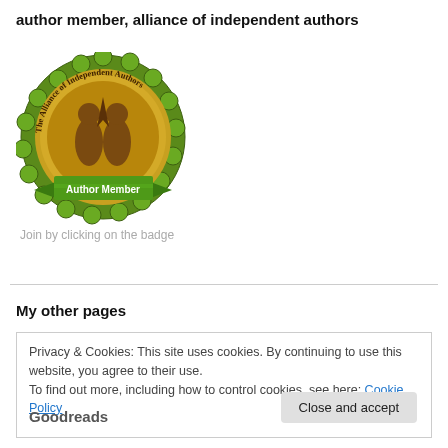author member, alliance of independent authors
[Figure (illustration): Circular badge/seal for The Alliance of Independent Authors, with a green scalloped border, gold medal design, two figures with a pen nib, and a green ribbon banner reading 'Author Member']
Join by clicking on the badge
My other pages
Privacy & Cookies: This site uses cookies. By continuing to use this website, you agree to their use.
To find out more, including how to control cookies, see here: Cookie Policy
Close and accept
Goodreads